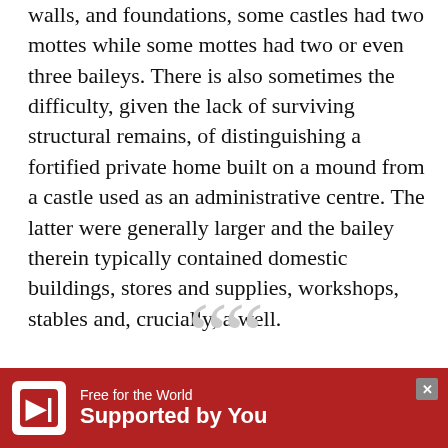walls, and foundations, some castles had two mottes while some mottes had two or even three baileys. There is also sometimes the difficulty, given the lack of surviving structural remains, of distinguishing a fortified private home built on a mound from a castle used as an administrative centre. The latter were generally larger and the bailey therein typically contained domestic buildings, stores and supplies, workshops, stables and, crucially, a well.
THERE IS ARCHAEOLOGICAL EVIDENCE THAT SOME MOTTES
[Figure (other): Advertisement banner: 'Free for the World / Supported by You' with red background and Wikipedia-style icon]